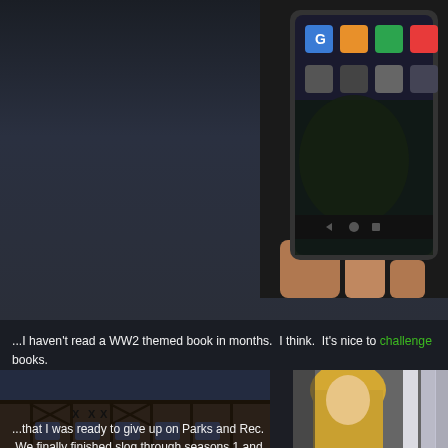[Figure (photo): Person holding a tablet/Android device showing app icons, top-right corner of page]
...I haven't read a WW2 themed book in months.  I think.  It's nice to challenge books.
...today is an "off" day.  We went to sleep late last night and I woke surgery diet).  As I was walking out the door, I dropped my full cup had to deal with extra stupidos in morning traffic.  I'm afraid to ever
...that I was ready to give up on Parks and Rec.  We finally finished slog through seasons 1 and the first half of season 2, I'm finally cato finally made his appearance and holy shit is he hot.
[Figure (photo): Half-timbered building facade visible at bottom left]
[Figure (photo): Blonde person with bright background visible at bottom right]